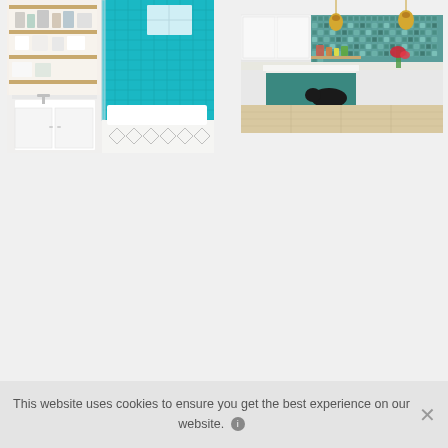[Figure (photo): Interior bathroom photo showing white cabinets with open shelving on left and a walk-in shower with bright turquoise/teal tiles on right, with patterned cement tile floor]
[Figure (photo): Interior kitchen photo showing white upper cabinets, teal/green mosaic tile backsplash, gold pendant lights, white marble island countertop, teal lower island cabinets, and a black dog lying on the floor]
This website uses cookies to ensure you get the best experience on our website.